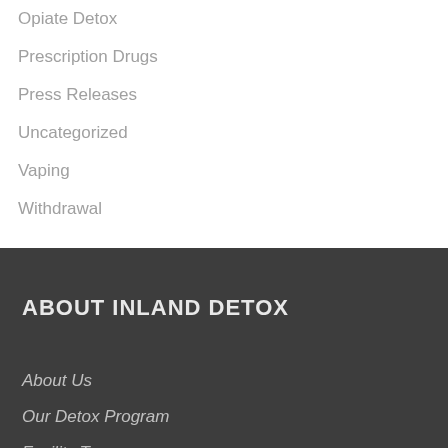Opiate Detox
Prescription Drugs
Press Releases
Uncategorized
Vaping
Withdrawal
ABOUT INLAND DETOX
About Us
Our Detox Program
Facility Tour